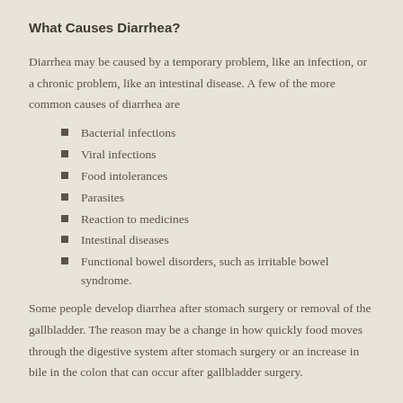What Causes Diarrhea?
Diarrhea may be caused by a temporary problem, like an infection, or a chronic problem, like an intestinal disease. A few of the more common causes of diarrhea are
Bacterial infections
Viral infections
Food intolerances
Parasites
Reaction to medicines
Intestinal diseases
Functional bowel disorders, such as irritable bowel syndrome.
Some people develop diarrhea after stomach surgery or removal of the gallbladder. The reason may be a change in how quickly food moves through the digestive system after stomach surgery or an increase in bile in the colon that can occur after gallbladder surgery.